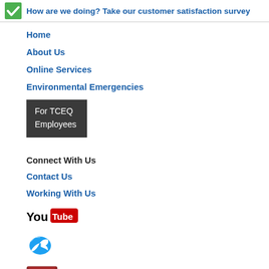How are we doing? Take our customer satisfaction survey
Home
About Us
Online Services
Environmental Emergencies
[Figure (other): Dark button/box reading 'For TCEQ Employees']
Connect With Us
Contact Us
Working With Us
[Figure (logo): YouTube logo badge with 'You' in black text and 'Tube' in white text on red background]
[Figure (illustration): Twitter bird icon in blue]
[Figure (illustration): Email envelope icon in dark red/maroon]